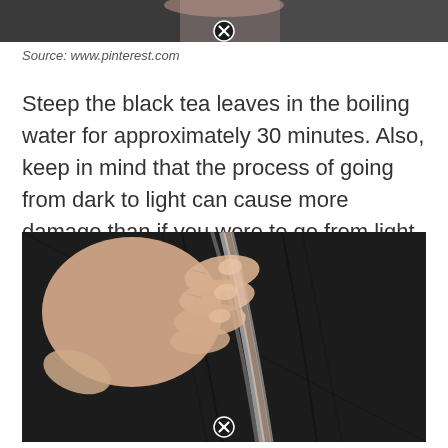[Figure (photo): Partial photo of person in dark jacket, cropped at bottom, with a close button overlay]
Source: www.pinterest.com
Steep the black tea leaves in the boiling water for approximately 30 minutes. Also, keep in mind that the process of going from dark to light can cause more damage than if you were to go from light to dark.
[Figure (photo): Close-up photo of a hand parting dark hair showing gray roots/scalp, with a close button overlay at the bottom]